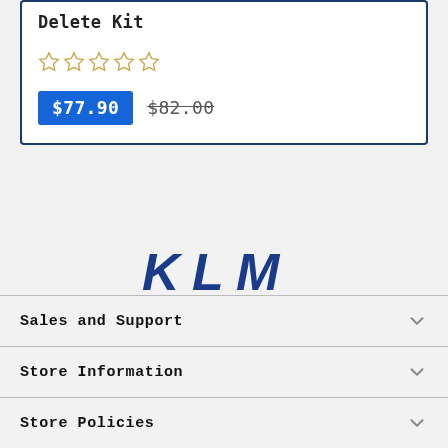Delete Kit
[Figure (other): 5-star rating widget showing 0 out of 5 stars (all empty/outline stars)]
$77.90  $82.00
[Figure (logo): KLM Performance logo — bold blue stylized KLM letters above smaller spaced PERFORMANCE text]
Sales and Support
Store Information
Store Policies